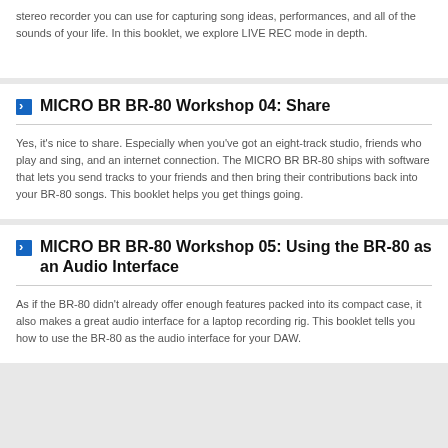stereo recorder you can use for capturing song ideas, performances, and all of the sounds of your life. In this booklet, we explore LIVE REC mode in depth.
MICRO BR BR-80 Workshop 04: Share
Yes, it's nice to share. Especially when you've got an eight-track studio, friends who play and sing, and an internet connection. The MICRO BR BR-80 ships with software that lets you send tracks to your friends and then bring their contributions back into your BR-80 songs. This booklet helps you get things going.
MICRO BR BR-80 Workshop 05: Using the BR-80 as an Audio Interface
As if the BR-80 didn't already offer enough features packed into its compact case, it also makes a great audio interface for a laptop recording rig. This booklet tells you how to use the BR-80 as the audio interface for your DAW.